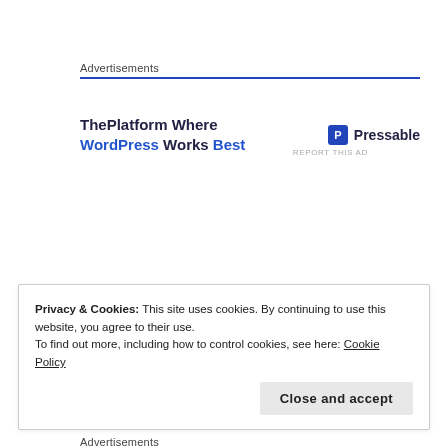Advertisements
[Figure (other): Advertisement banner for Pressable: 'ThePlatform Where WordPress Works Best' with Pressable logo]
REPORT THIS AD
Privacy & Cookies: This site uses cookies. By continuing to use this website, you agree to their use.
To find out more, including how to control cookies, see here: Cookie Policy
Close and accept
Advertisements